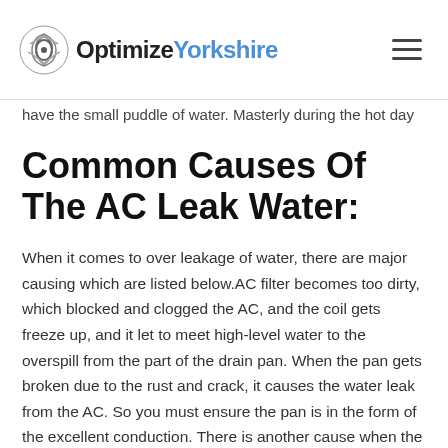Optimize Yorkshire
...have the small puddle of water. Masterly during the hot day
Common Causes Of The AC Leak Water:
When it comes to over leakage of water, there are major causing which are listed below.AC filter becomes too dirty, which blocked and clogged the AC, and the coil gets freeze up, and it let to meet high-level water to the overspill from the part of the drain pan. When the pan gets broken due to the rust and crack, it causes the water leak from the AC. So you must ensure the pan is in the form of the excellent conduction. There is another cause when the drain is more blocked, which relates to...